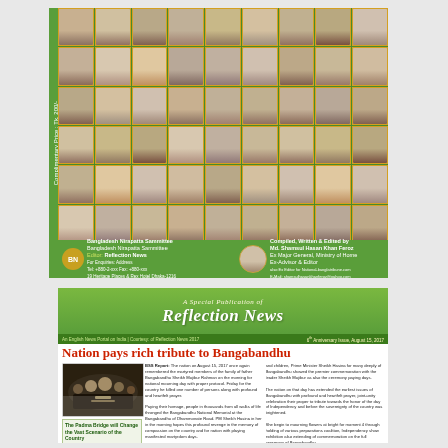[Figure (photo): Publication cover with grid of portrait photos on green background, showing multiple rows of individual headshots]
Complimentary Price : Tk. 200/-
Compiled, Written & Edited by Md. Shamsul Hasan Khan Feroz, Ex Major General, Ministry of Home, Ex-Advisor & Editor
[Figure (photo): Reflection News newspaper front page with masthead, headline and news content]
Reflection News
Nation pays rich tribute to Bangabandhu
News report about nation paying tribute to Bangabandhu Sheikh Mujibur Rahman on his anniversary
An Evaluation: Janananteri Sheikh Hasina & Her 8 years of Success
Editorial evaluation of Prime Minister Sheikh Hasina's 8 years of governance and success